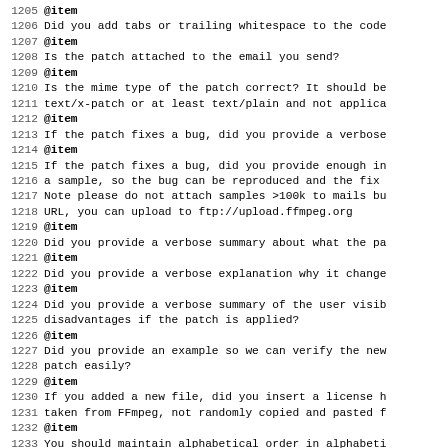Code listing lines 1205-1237, showing @item entries with checklist questions for patch submission.